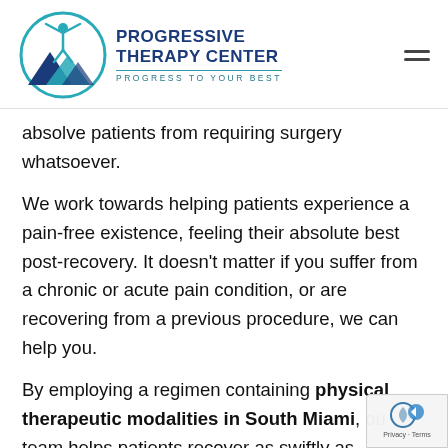[Figure (logo): Progressive Therapy Center logo with teal circular figure and mountain shapes, text reads PROGRESSIVE THERAPY CENTER, PROGRESS TO YOUR BEST]
absolve patients from requiring surgery whatsoever.
We work towards helping patients experience a pain-free existence, feeling their absolute best post-recovery. It doesn't matter if you suffer from a chronic or acute pain condition, or are recovering from a previous procedure, we can help you.
By employing a regimen containing physical therapeutic modalities in South Miami, our team helps patients recover as swiftly as possible with minimal if any downtime. Nonetheless, this